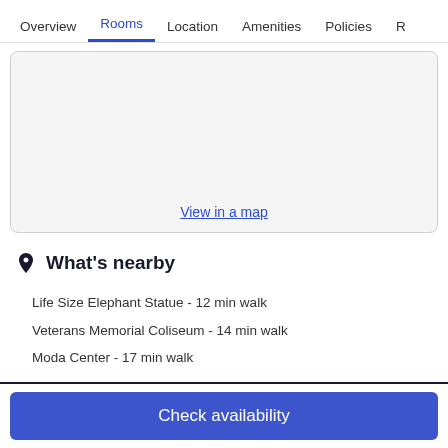Overview  Rooms  Location  Amenities  Policies  R
[Figure (map): Embedded map placeholder area with 'View in a map' link at bottom center]
View in a map
What's nearby
Life Size Elephant Statue - 12 min walk
Veterans Memorial Coliseum - 14 min walk
Moda Center - 17 min walk
Check availability